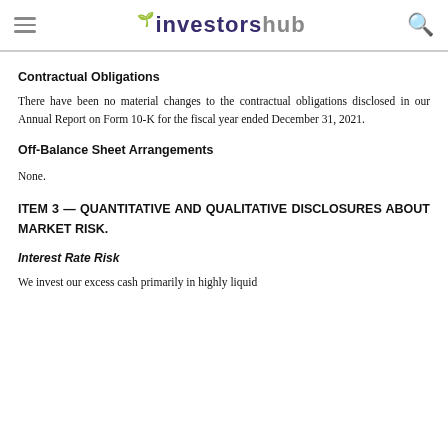investorshub
Contractual Obligations
There have been no material changes to the contractual obligations disclosed in our Annual Report on Form 10-K for the fiscal year ended December 31, 2021.
Off-Balance Sheet Arrangements
None.
ITEM 3 — QUANTITATIVE AND QUALITATIVE DISCLOSURES ABOUT MARKET RISK.
Interest Rate Risk
We invest our excess cash primarily in highly liquid